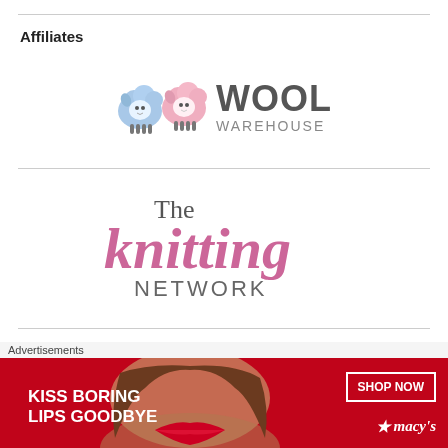Affiliates
[Figure (logo): Wool Warehouse logo with two cartoon sheep (blue and pink) next to bold text 'WOOL WAREHOUSE']
[Figure (logo): The Knitting Network logo — 'The' in gray serif, 'knitting' in large pink italic serif, 'NETWORK' in gray sans-serif]
[Figure (logo): Partial logo visible — small pink magenta shape at bottom of third affiliate section]
Advertisements
[Figure (photo): Macy's advertisement banner: red background, 'KISS BORING LIPS GOODBYE' in white bold text, photo of woman's face with red lips, 'SHOP NOW' button, Macy's star logo]